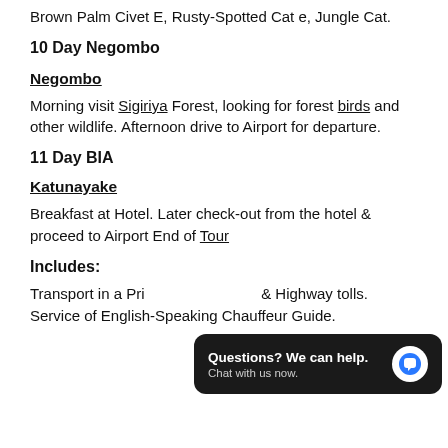Brown Palm Civet E, Rusty-Spotted Cat e, Jungle Cat.
10 Day Negombo
Negombo
Morning visit Sigiriya Forest, looking for forest birds and other wildlife. Afternoon drive to Airport for departure.
11 Day BIA
Katunayake
Breakfast at Hotel. Later check-out from the hotel & proceed to Airport End of Tour
Includes:
Transport in a Pri... & Highway tolls. Service of English-Speaking Chauffeur Guide.
[Figure (other): Chat widget popup with text 'Questions? We can help. Chat with us now.' and a blue speech bubble icon on a dark background.]